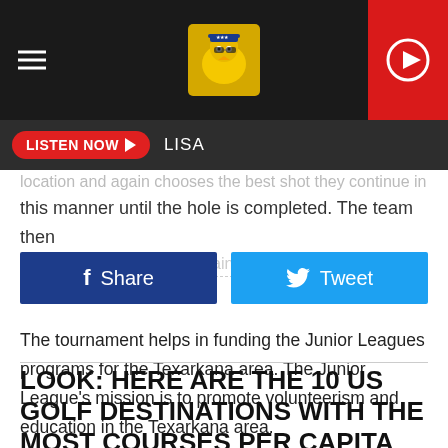LISTEN NOW  LISA
location and again chooses the best shot they continue in this manner until the hole is completed. The team then records its score and maintains that format for all 18 holes
[Figure (screenshot): Facebook Share button (dark blue) and Twitter Tweet button (light blue)]
The tournament helps in funding the Junior Leagues programs for the Texarkana area. The Junior League's mission is to promote volunteerism and education in the Texarkana area.
LOOK: HERE ARE THE 10 US GOLF DESTINATIONS WITH THE MOST COURSES PER CAPITA